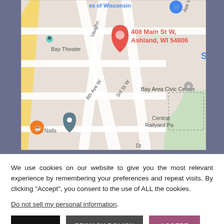[Figure (map): Google Maps screenshot showing 408 Main St W, Ashland, WI 54806 with a red location pin. Streets visible include 6th Ave W, 3rd St W, Vaughn Ave W. Landmarks include Bay Theater, Bay Area Civic Center, Central Railyard Park, and Natural Nails. Blue shopping cart icon visible top left labeled 'es of Wisconsin'.]
We use cookies on our website to give you the most relevant experience by remembering your preferences and repeat visits. By clicking “Accept”, you consent to the use of ALL the cookies.
Do not sell my personal information.
Settings
PRIVACY POLICY
ACCEPT